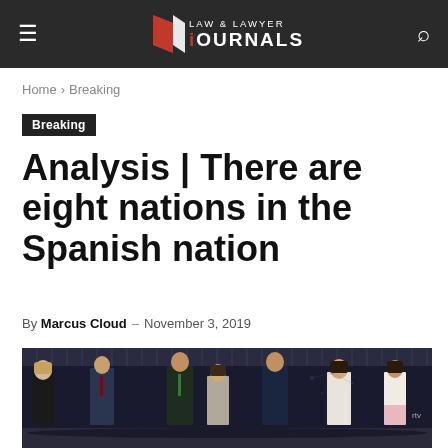Law & Lawyer Journals
Home › Breaking
Breaking
Analysis | There are eight nations in the Spanish nation
By Marcus Cloud – November 3, 2019
[Figure (photo): Group of seven politicians standing on a TV debate stage with dark background and digital displays]